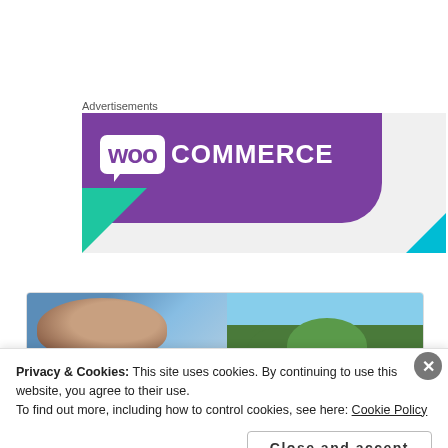Advertisements
[Figure (logo): WooCommerce advertisement banner with purple background, WOO logo in white box and COMMERCE text in white, green triangle bottom-left, blue triangle bottom-right]
[Figure (photo): Two article preview images side by side: left shows a bald man, right shows trees against blue sky]
Privacy & Cookies: This site uses cookies. By continuing to use this website, you agree to their use.
To find out more, including how to control cookies, see here: Cookie Policy
Close and accept